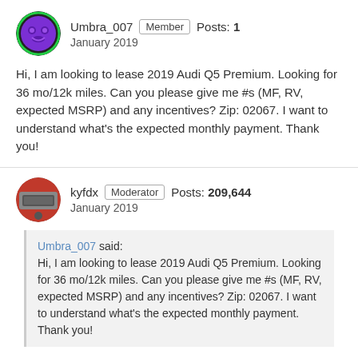Umbra_007  Member  Posts: 1
January 2019
Hi, I am looking to lease 2019 Audi Q5 Premium. Looking for 36 mo/12k miles. Can you please give me #s (MF, RV, expected MSRP) and any incentives? Zip: 02067. I want to understand what's the expected monthly payment. Thank you!
kyfdx  Moderator  Posts: 209,644
January 2019
Umbra_007 said:
Hi, I am looking to lease 2019 Audi Q5 Premium. Looking for 36 mo/12k miles. Can you please give me #s (MF, RV, expected MSRP) and any incentives? Zip: 02067. I want to understand what's the expected monthly payment. Thank you!